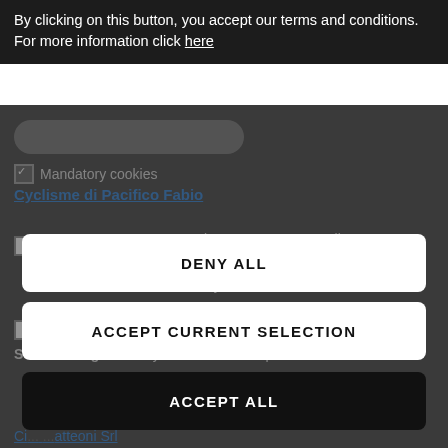By clicking on this button, you accept our terms and conditions. For more information click here
Mandatory cookies
Cyclisme di Pacifico Fabio
Statistics cookies
Via Tenente A.Tanzarella 3
Ostuni, Brindisi 72017
Italy
Marketing and Social network cookies
Store Timing : Today : 9:00 am - 7:00 pm
DENY ALL
ACCEPT CURRENT SELECTION
ACCEPT ALL
Ci... ...atteoni Srl